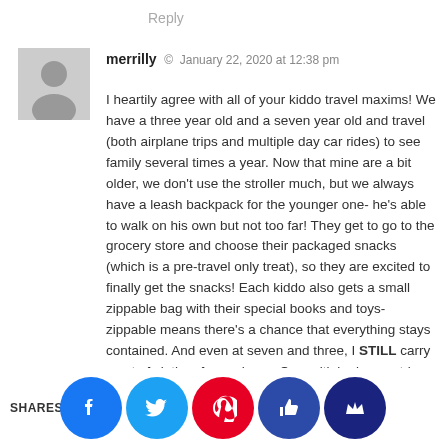Reply
[Figure (illustration): Grey avatar placeholder image of a person silhouette]
merrilly  ©  January 22, 2020 at 12:38 pm
I heartily agree with all of your kiddo travel maxims! We have a three year old and a seven year old and travel (both airplane trips and multiple day car rides) to see family several times a year. Now that mine are a bit older, we don't use the stroller much, but we always have a leash backpack for the younger one- he's able to walk on his own but not too far! They get to go to the grocery store and choose their packaged snacks (which is a pre-travel only treat), so they are excited to finally get the snacks! Each kiddo also gets a small zippable bag with their special books and toys- zippable means there's a chance that everything stays contained. And even at seven and three, I STILL carry a set of clothes for each one On multiple day car trips, we do hourly car presents on the long travel days. I look all year at thrift shops and garage sales to find little things that they will enjoy (like hot wheels, new books, puzzles, etc) and the...d one ni... sent for... of them (... urrent f... are Ta... netic b... hich I... ale on Friday or Prime Day. Since we do...t have video...on the car, th
Shares